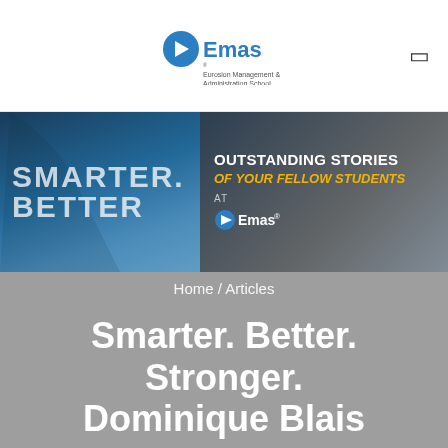Emas - Eurosion Management & Administration School
[Figure (screenshot): Banner image split in two: left side shows a dark blue background with guitar player and text 'SMARTER. BETTER.' in large white letters; right side shows 'OUTSTANDING STORIES OF YOUR FELLOW STUDENTS AT Emas' with yellow and white text on dark background]
Home / Articles
Smarter. Better. Stronger. Dominique Blais